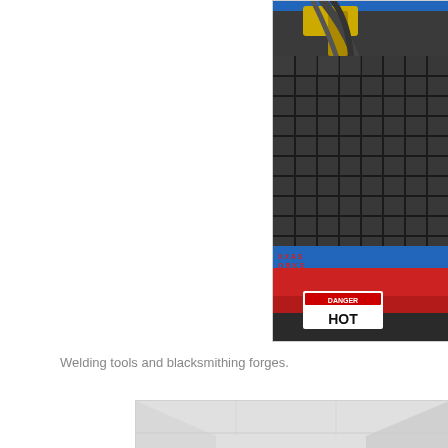[Figure (photo): Industrial plasma cutter or CNC cutting machine with a grid/grate table surface, blue and red frame, yellow torch head with cables, and a 'DANGER HOT' warning sign visible at the bottom.]
Welding tools and blacksmithing forges.
[Figure (photo): Interior room with white walls and ceiling, partially visible.]